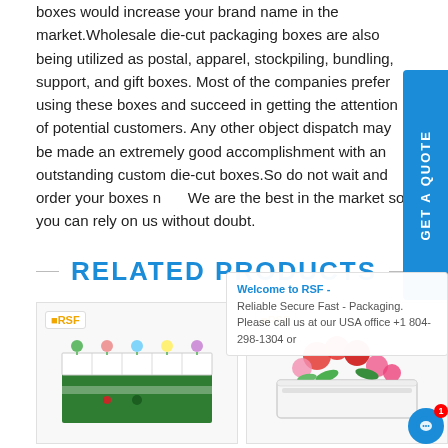boxes would increase your brand name in the market.Wholesale die-cut packaging boxes are also being utilized as postal, apparel, stockpiling, bundling, support, and gift boxes. Most of the companies prefer using these boxes and succeed in getting the attention of potential customers. Any other object dispatch may be made an extremely good accomplishment with an outstanding custom die-cut boxes.So do not wait and order your boxes now. We are the best in the market so you can rely on us without doubt.
RELATED PRODUCTS
[Figure (photo): Product image 1 with RSF logo badge showing a green and white packaging box filled with small potted plants/flowers]
[Figure (photo): Product image 2 with RSF logo badge showing a white flower box/planter with red and pink flowers]